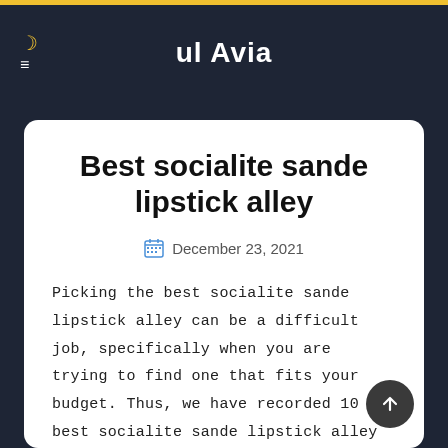ul Avia
Best socialite sande lipstick alley
December 23, 2021
Picking the best socialite sande lipstick alley can be a difficult job, specifically when you are trying to find one that fits your budget. Thus, we have recorded 10 best socialite sande lipstick alley available at best costs with all the most recent features that meeting your needs. After hours and hours of research, we decide that 6Pcs Matte